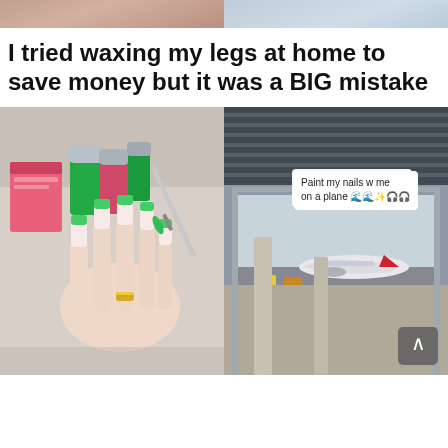[Figure (photo): Top strip showing partial images from previous content - left side shows skin tones, right side shows lighter colors]
I tried waxing my legs at home to save money but it was a BIG mistake
[Figure (photo): Left photo: Close-up of a hand with long nails being painted green, with pink and green nail polish bottles/boxes visible. Right photo: Airport terminal interior with view of plane on tarmac; sticker overlay reads 'Paint my nails w me on a plane' with emoji; navigation arrow button visible bottom right.]